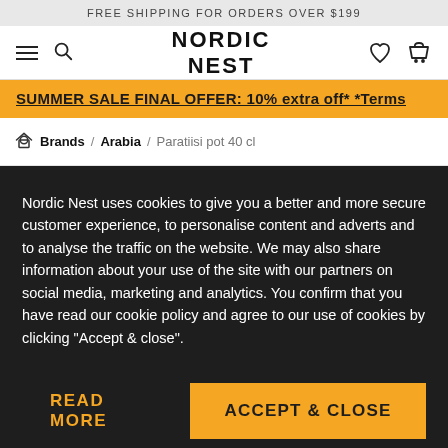FREE SHIPPING FOR ORDERS OVER $199
[Figure (logo): Nordic Nest logo with hamburger menu, search icon, heart icon, and basket icon]
SUMMER SALE FINAL OFFER: 10% extra off* *Terms
Brands / Arabia / Paratiisi pot 40 cl
Nordic Nest uses cookies to give you a better and more secure customer experience, to personalise content and adverts and to analyse the traffic on the website. We may also share information about your use of the site with our partners on social media, marketing and analytics. You confirm that you have read our cookie policy and agree to our use of cookies by clicking "Accept & close".
READ MORE
ACCEPT & CLOSE